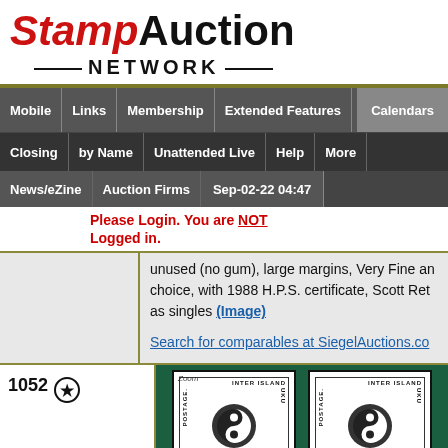[Figure (logo): StampAuction NETWORK logo with red italic Stamp and black Auction text, NETWORK below with decorative lines]
Mobile | Links | Membership | Extended Features | Calendars
Closing | by Name | Unattended Live | Help | More
News/eZine | Auction Firms | Sep-02-22 04:47
Please Login. You are NOT Logged in.
unused (no gum), large margins, Very Fine and choice, with 1988 H.P.S. certificate, Scott Ret as singles (Image)
Search for comparables at SiegelAuctions.co
1052  (★)
[Figure (photo): Two Hawaiian Inter Island postage stamps with yin-yang style circular design, displayed on dark green background]